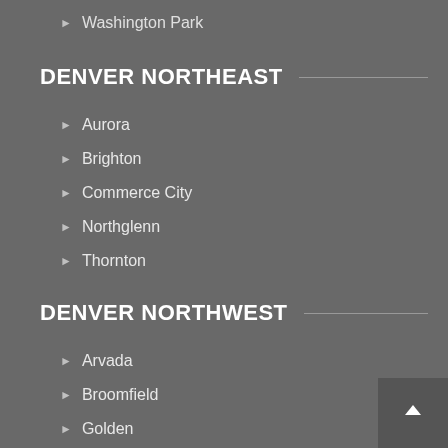Washington Park
DENVER NORTHEAST
Aurora
Brighton
Commerce City
Northglenn
Thornton
DENVER NORTHWEST
Arvada
Broomfield
Golden
Idaho Springs